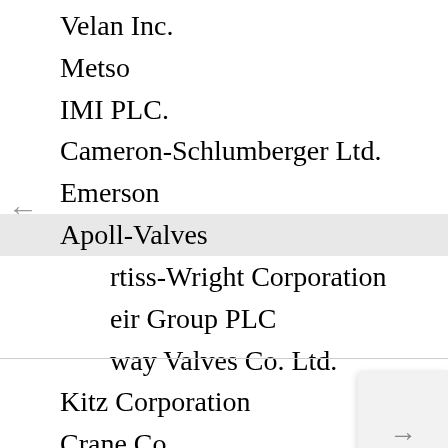Velan Inc.
Metso
IMI PLC.
Cameron-Schlumberger Ltd.
Emerson
Apoll-Valves
rtiss-Wright Corporation
eir Group PLC
way Valves Co. Ltd.
Kitz Corporation
Crane Co.
Flowserve Corporation
Dwyer Instruments Inc.
valvitalia S.P.A